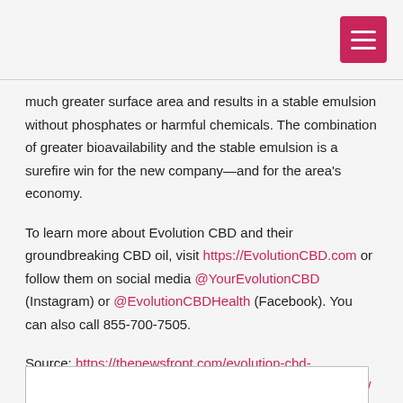[Figure (other): Pink/crimson hamburger menu button in top right corner]
much greater surface area and results in a stable emulsion without phosphates or harmful chemicals. The combination of greater bioavailability and the stable emulsion is a surefire win for the new company—and for the area's economy.
To learn more about Evolution CBD and their groundbreaking CBD oil, visit https://EvolutionCBD.com or follow them on social media @YourEvolutionCBD (Instagram) or @EvolutionCBDHealth (Facebook). You can also call 855-700-7505.
Source: https://thenewsfront.com/evolution-cbd-announces-new-global-brand-ambassador-lyoto-machida/
Organisation: https://thenewsfront.com/organisation/evolution-cbd/